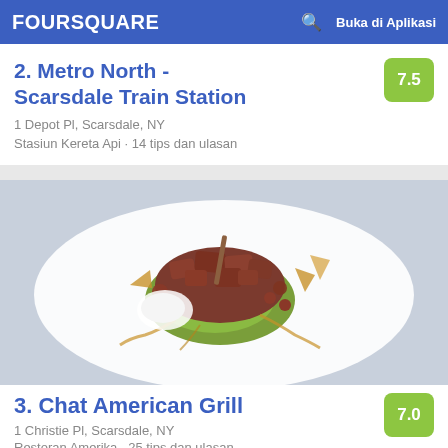FOURSQUARE  Buka di Aplikasi
2. Metro North - Scarsdale Train Station
1 Depot Pl, Scarsdale, NY
Stasiun Kereta Api · 14 tips dan ulasan
[Figure (photo): Food photo showing tuna tartare or meat dish on white plate with garnishes]
3. Chat American Grill
1 Christie Pl, Scarsdale, NY
Restoran Amerika · 25 tips dan ulasan